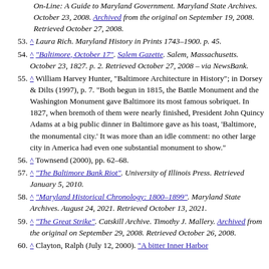(continuation) On-Line: A Guide to Maryland Government. Maryland State Archives. October 23, 2008. Archived from the original on September 19, 2008. Retrieved October 27, 2008.
53. ^ Laura Rich. Maryland History in Prints 1743–1900. p. 45.
54. ^ "Baltimore, October 17". Salem Gazette. Salem, Massachusetts. October 23, 1827. p. 2. Retrieved October 27, 2008 – via NewsBank.
55. ^ William Harvey Hunter, "Baltimore Architecture in History"; in Dorsey & Dilts (1997), p. 7. "Both begun in 1815, the Battle Monument and the Washington Monument gave Baltimore its most famous sobriquet. In 1827, when bremoth of them were nearly finished, President John Quincy Adams at a big public dinner in Baltimore gave as his toast, 'Baltimore, the monumental city.' It was more than an idle comment: no other large city in America had even one substantial monument to show."
56. ^ Townsend (2000), pp. 62–68.
57. ^ "The Baltimore Bank Riot". University of Illinois Press. Retrieved January 5, 2010.
58. ^ "Maryland Historical Chronology: 1800–1899". Maryland State Archives. August 24, 2021. Retrieved October 13, 2021.
59. ^ "The Great Strike". Catskill Archive. Timothy J. Mallery. Archived from the original on September 29, 2008. Retrieved October 26, 2008.
60. ^ Clayton, Ralph (July 12, 2000). "A bitter Inner Harbor...